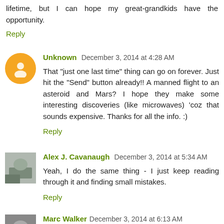lifetime, but I can hope my great-grandkids have the opportunity.
Reply
Unknown December 3, 2014 at 4:28 AM
That "just one last time" thing can go on forever. Just hit the "Send" button already!! A manned flight to an asteroid and Mars? I hope they make some interesting discoveries (like microwaves) 'coz that sounds expensive. Thanks for all the info. :)
Reply
Alex J. Cavanaugh December 3, 2014 at 5:34 AM
Yeah, I do the same thing - I just keep reading through it and finding small mistakes.
Reply
Marc Walker December 3, 2014 at 6:13 AM